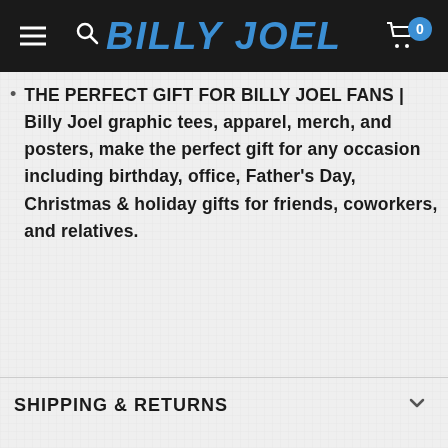BILLY JOEL
THE PERFECT GIFT FOR BILLY JOEL FANS | Billy Joel graphic tees, apparel, merch, and posters, make the perfect gift for any occasion including birthday, office, Father's Day, Christmas & holiday gifts for friends, coworkers, and relatives.
SHIPPING & RETURNS
RELATED PRODUCTS